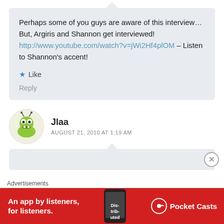Perhaps some of you guys are aware of this interview…But, Argiris and Shannon get interviewed! http://www.youtube.com/watch?v=jWi2Hf4plOM – Listen to Shannon's accent!
Like
Reply
Jlaa
AUGUST 21, 2010 AT 1:19 AM
Advertisements
[Figure (infographic): Pocket Casts advertisement banner: red background with white text 'An app by listeners, for listeners.' and Pocket Casts logo with phone image]